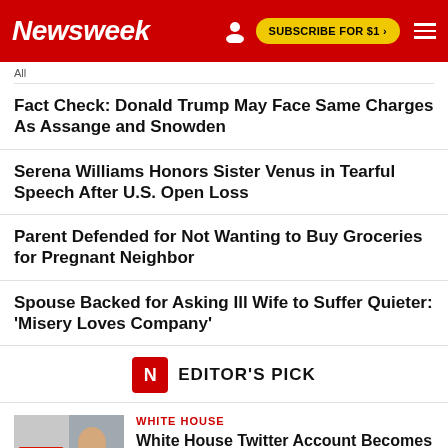Newsweek — SUBSCRIBE FOR $1 >
Fact Check: Donald Trump May Face Same Charges As Assange and Snowden
Serena Williams Honors Sister Venus in Tearful Speech After U.S. Open Loss
Parent Defended for Not Wanting to Buy Groceries for Pregnant Neighbor
Spouse Backed for Asking Ill Wife to Suffer Quieter: 'Misery Loves Company'
EDITOR'S PICK
WHITE HOUSE
White House Twitter Account Becomes Key Weapon in Biden's MAGA Fight Back